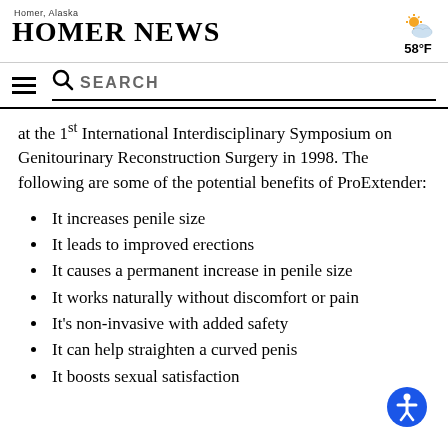Homer, Alaska — HOMER NEWS — 58°F
at the 1st International Interdisciplinary Symposium on Genitourinary Reconstruction Surgery in 1998. The following are some of the potential benefits of ProExtender:
It increases penile size
It leads to improved erections
It causes a permanent increase in penile size
It works naturally without discomfort or pain
It's non-invasive with added safety
It can help straighten a curved penis
It boosts sexual satisfaction